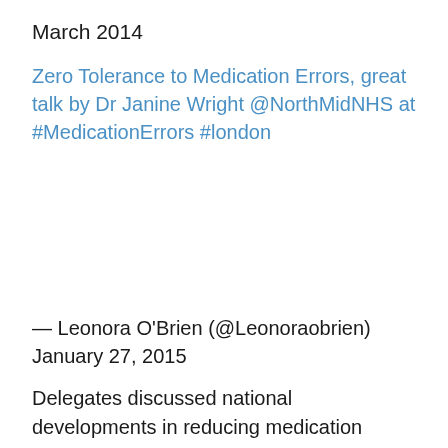March 2014
Zero Tolerance to Medication Errors, great talk by Dr Janine Wright @NorthMidNHS at #MedicationErrors #london
— Leonora O'Brien (@Leonoraobrien) January 27, 2015
Delegates discussed national developments in reducing medication errors from NHS England, including the effective implementation of the National Patient Safety Alert on improving